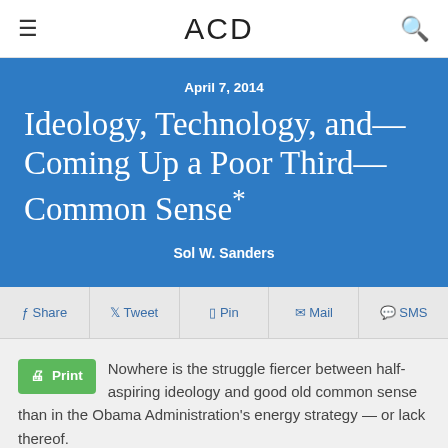ACD
April 7, 2014
Ideology, Technology, and—Coming Up a Poor Third—Common Sense*
Sol W. Sanders
Share  Tweet  Pin  Mail  SMS
Nowhere is the struggle fiercer between half-aspiring ideology and good old common sense than in the Obama Administration's energy strategy — or lack thereof.